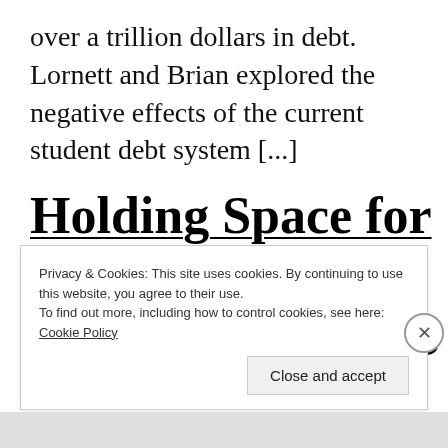over a trillion dollars in debt. Lornett and Brian explored the negative effects of the current student debt system [...]
Holding Space for the Revolution: 5 Tips for Becoming a Better
Privacy & Cookies: This site uses cookies. By continuing to use this website, you agree to their use.
To find out more, including how to control cookies, see here: Cookie Policy
Close and accept